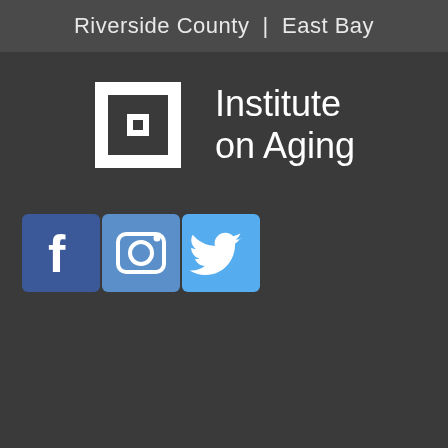Riverside County  |  East Bay
[Figure (logo): Institute on Aging logo — square icon with nested squares and center square, followed by text 'Institute on Aging']
[Figure (infographic): Social media icons: Facebook (blue), Instagram (gradient blue), Twitter (light blue)]